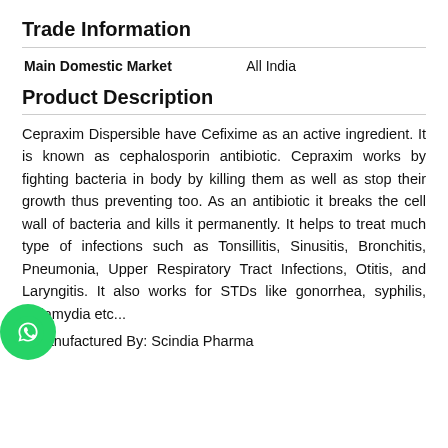Trade Information
| Main Domestic Market | All India |
Product Description
Cepraxim Dispersible have Cefixime as an active ingredient. It is known as cephalosporin antibiotic. Cepraxim works by fighting bacteria in body by killing them as well as stop their growth thus preventing too. As an antibiotic it breaks the cell wall of bacteria and kills it permanently. It helps to treat much type of infections such as Tonsillitis, Sinusitis, Bronchitis, Pneumonia, Upper Respiratory Tract Infections, Otitis, and Laryngitis. It also works for STDs like gonorrhea, syphilis, Chlamydia etc...
Manufactured By: Scindia Pharma